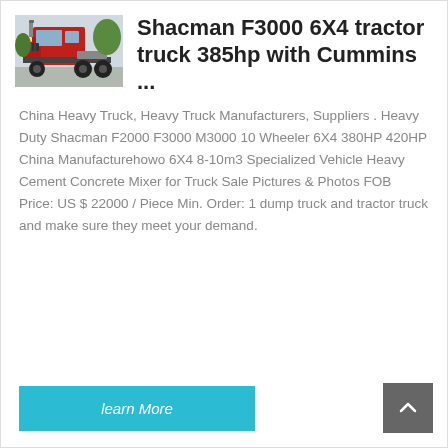[Figure (photo): Rear view of a red Shacman F3000 6X4 tractor truck parked outdoors]
Shacman F3000 6X4 tractor truck 385hp with Cummins ...
China Heavy Truck, Heavy Truck Manufacturers, Suppliers . Heavy Duty Shacman F2000 F3000 M3000 10 Wheeler 6X4 380HP 420HP China Manufacturehowo 6X4 8-10m3 Specialized Vehicle Heavy Cement Concrete Mixer for Truck Sale Pictures & Photos FOB Price: US $ 22000 / Piece Min. Order: 1 dump truck and tractor truck and make sure they meet your demand.
learn More